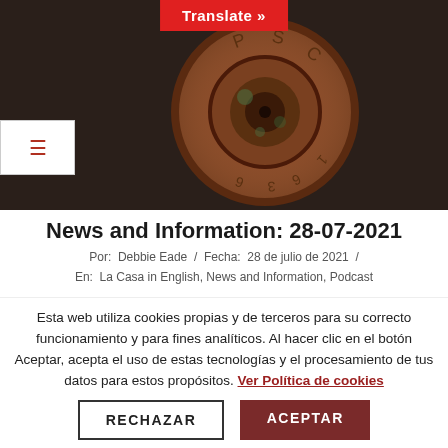[Figure (photo): Close-up photograph of an ancient or antique coin against a dark brown background. The coin is circular, copper/bronze colored with green patina, showing inscribed letters around the rim and a circular raised center with a hole.]
News and Information: 28-07-2021
Por: Debbie Eade / Fecha: 28 de julio de 2021 / En: La Casa in English, News and Information, Podcast
Esta web utiliza cookies propias y de terceros para su correcto funcionamiento y para fines analíticos. Al hacer clic en el botón Aceptar, acepta el uso de estas tecnologías y el procesamiento de tus datos para estos propósitos. Ver Política de cookies
RECHAZAR
ACEPTAR